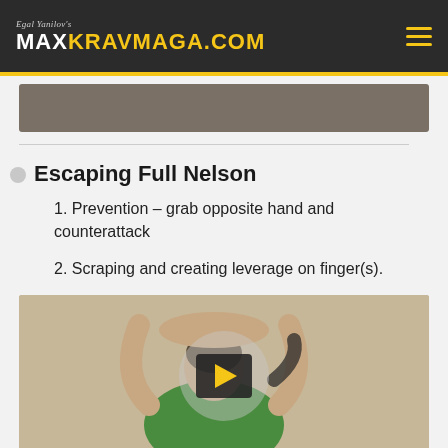Egal Yanilov's MAXKRAVMAGA.COM
[Figure (screenshot): Partially visible video thumbnail at top of content area]
Escaping Full Nelson
Prevention – grab opposite hand and counterattack
Scraping and creating leverage on finger(s).
[Figure (screenshot): Video thumbnail showing a man from behind with arms raised in a full nelson position, with a play button overlay circle containing a yellow play triangle]